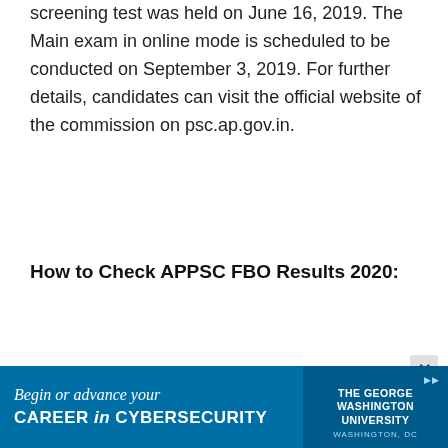screening test was held on June 16, 2019. The Main exam in online mode is scheduled to be conducted on September 3, 2019. For further details, candidates can visit the official website of the commission on psc.ap.gov.in.
How to Check APPSC FBO Results 2020:
Step I: Go to the official website for
[Figure (other): Advertisement banner for The George Washington University: 'Begin or advance your CAREER in CYBERSECURITY' with university logo and Washington DC location text, shown over a blue background.]